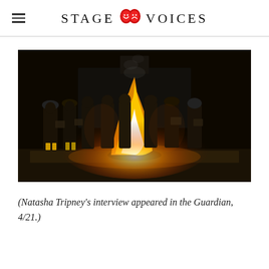STAGE VOICES
[Figure (photo): A group of about eight people dressed in dark period clothing and hats standing outdoors at night around a large bonfire in front of a dark building, dramatic lighting from the flames.]
(Natasha Tripney’s interview appeared in the Guardian, 4/21.)